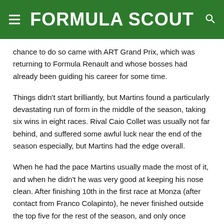FORMULA SCOUT
chance to do so came with ART Grand Prix, which was returning to Formula Renault and whose bosses had already been guiding his career for some time.
Things didn't start brilliantly, but Martins found a particularly devastating run of form in the middle of the season, taking six wins in eight races. Rival Caio Collet was usually not far behind, and suffered some awful luck near the end of the season especially, but Martins had the edge overall.
When he had the pace Martins usually made the most of it, and when he didn't he was very good at keeping his nose clean. After finishing 10th in the first race at Monza (after contact from Franco Colapinto), he never finished outside the top five for the rest of the season, and only once outside of the top four.
While the team's engineers knew what they were doing, Martins